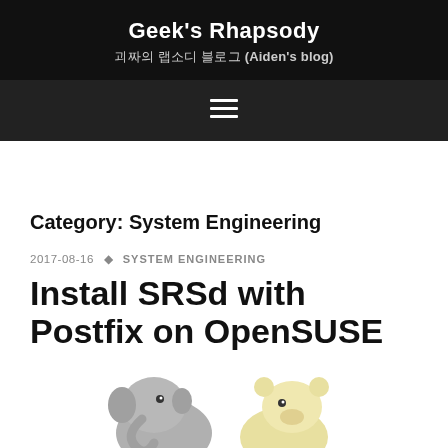Geek's Rhapsody
괴짜의 랩소디 블로그 (Aiden's blog)
Category: System Engineering
2017-08-16 · SYSTEM ENGINEERING
Install SRSd with Postfix on OpenSUSE
[Figure (illustration): Cartoon illustration of two characters - an elephant and another animal figure, partially visible at the bottom of the page]